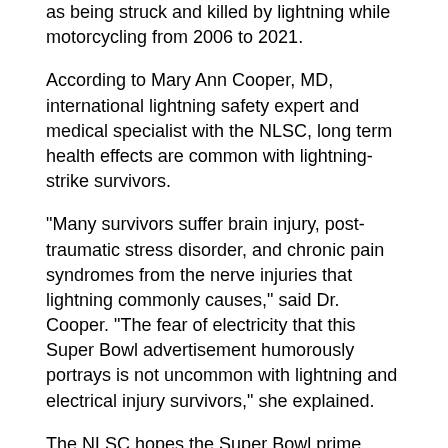as being struck and killed by lightning while motorcycling from 2006 to 2021.
According to Mary Ann Cooper, MD, international lightning safety expert and medical specialist with the NLSC, long term health effects are common with lightning-strike survivors.
"Many survivors suffer brain injury, post-traumatic stress disorder, and chronic pain syndromes from the nerve injuries that lightning commonly causes," said Dr. Cooper. "The fear of electricity that this Super Bowl advertisement humorously portrays is not uncommon with lightning and electrical injury survivors," she explained.
The NLSC hopes the Super Bowl prime airing of the commercial will prompt conversations and spark awareness about the dangers of lightning to prevent more deaths and injuries.
"Not all lightning survivors will find this commercial funny, but sometimes humor gets the word out to certain audiences better than serious warnings," added Dr.